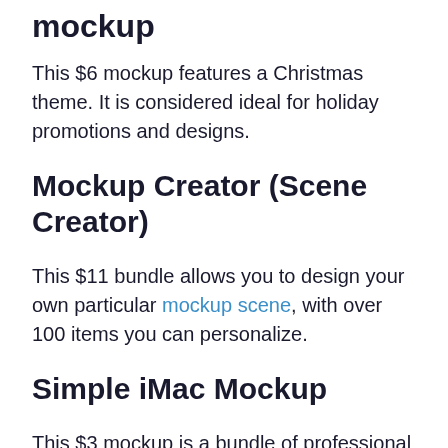mockup
This $6 mockup features a Christmas theme. It is considered ideal for holiday promotions and designs.
Mockup Creator (Scene Creator)
This $11 bundle allows you to design your own particular mockup scene, with over 100 items you can personalize.
Simple iMac Mockup
This $3 mockup is a bundle of professional